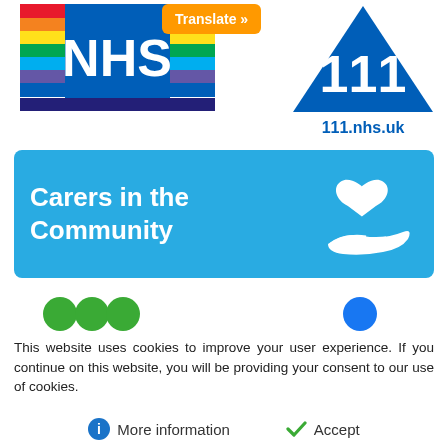[Figure (logo): NHS rainbow logo with coloured stripes and white NHS text on blue background]
[Figure (logo): Orange Translate button with arrow]
[Figure (logo): NHS 111 blue triangle logo with 111.nhs.uk URL below]
[Figure (logo): Carers in the Community banner - teal background with white text and heart/hand icon]
[Figure (logo): Social media icons row (green circles and blue circle)]
This website uses cookies to improve your user experience. If you continue on this website, you will be providing your consent to our use of cookies.
More information
Accept